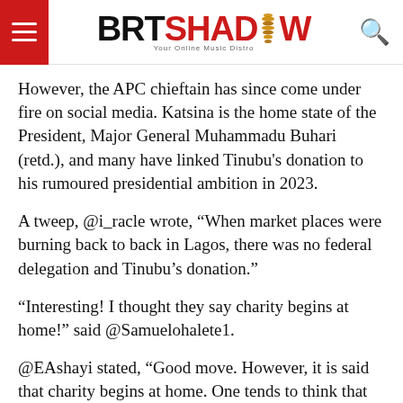BRTSHADOW - Your Online Music Distro
However, the APC chieftain has since come under fire on social media. Katsina is the home state of the President, Major General Muhammadu Buhari (retd.), and many have linked Tinubu’s donation to his rumoured presidential ambition in 2023.
A tweep, @i_racle wrote, “When market places were burning back to back in Lagos, there was no federal delegation and Tinubu’s donation.”
“Interesting! I thought they say charity begins at home!” said @Samuelohalete1.
@EAshayi stated, “Good move. However, it is said that charity begins at home. One tends to think that he is seeking approval of the North in view of